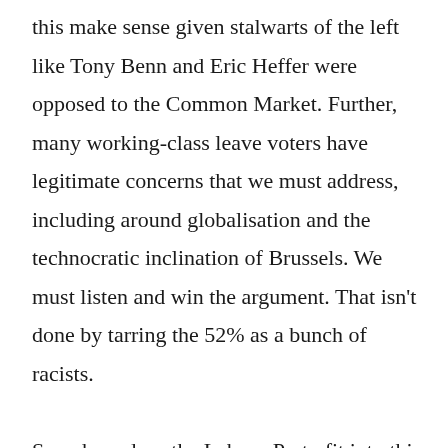this make sense given stalwarts of the left like Tony Benn and Eric Heffer were opposed to the Common Market. Further, many working-class leave voters have legitimate concerns that we must address, including around globalisation and the technocratic inclination of Brussels. We must listen and win the argument. That isn't done by tarring the 52% as a bunch of racists.

So, where does the Labour Party fit into this, as the largest Political party in Britain, and one of the biggest in Europe? For most of its existence the Labour Party has been proudly antifascist, with members fighting Franco's Army in Spain, Mosley's Thugs in East London, and the National Front in the 70's and 80's. We have a duty as